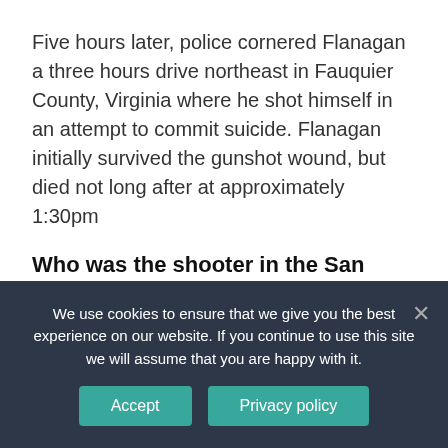Five hours later, police cornered Flanagan a three hours drive northeast in Fauquier County, Virginia where he shot himself in an attempt to commit suicide. Flanagan initially survived the gunshot wound, but died not long after at approximately 1:30pm
Who was the shooter in the San Jose shooting?
Santa Clara County Sheriff Laurie Smith said the shooter told at least one person: “I’m not going to shoot you” at a light rail facility for the Valley Transportation Authority in San Jose. He then shot
We use cookies to ensure that we give you the best experience on our website. If you continue to use this site we will assume that you are happy with it.